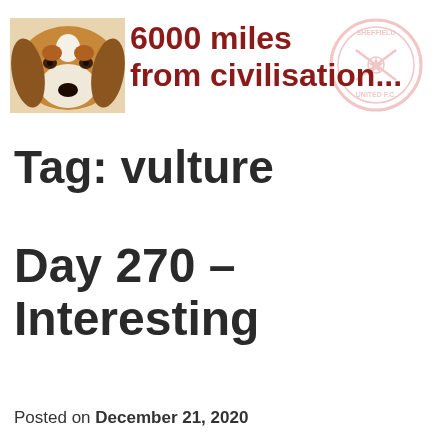[Figure (illustration): Blog header banner with a beagle dog photo on the left, bold red text '6000 miles from civilisation...' in the center, and a faded Sheffield United FC badge on the right]
Tag: vulture
Day 270 – Interesting
Posted on December 21, 2020